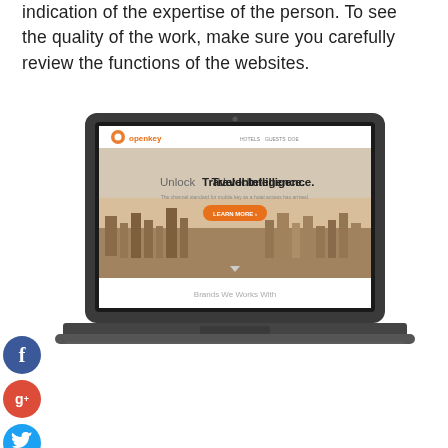indication of the expertise of the person. To see the quality of the work, make sure you carefully review the functions of the websites.
[Figure (screenshot): A laptop displaying the openkey website with headline 'Unlock Travel Intelligence.' and a city skyline background photo. Social media icons (Facebook, Google+, Twitter, Plus) shown on the left side.]